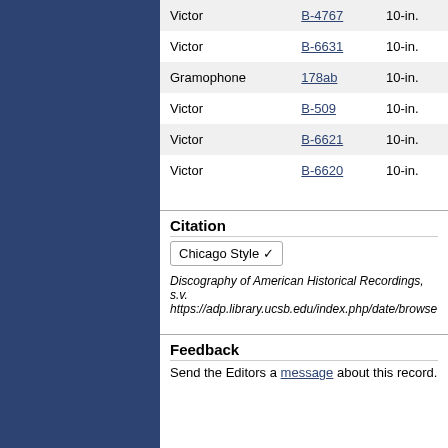| Label | Catalog | Size |
| --- | --- | --- |
| Victor | B-4767 | 10-in. |
| Victor | B-6631 | 10-in. |
| Gramophone | 178ab | 10-in. |
| Victor | B-509 | 10-in. |
| Victor | B-6621 | 10-in. |
| Victor | B-6620 | 10-in. |
Citation
Chicago Style ▾
Discography of American Historical Recordings, s.v. https://adp.library.ucsb.edu/index.php/date/browse
Feedback
Send the Editors a message about this record.